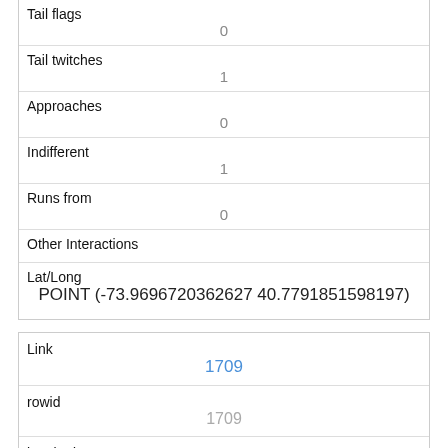| Tail flags | 0 |
| Tail twitches | 1 |
| Approaches | 0 |
| Indifferent | 1 |
| Runs from | 0 |
| Other Interactions |  |
| Lat/Long | POINT (-73.9696720362627 40.7791851598197) |
| Link | 1709 |
| rowid | 1709 |
| longitude | -73.9771696835698 |